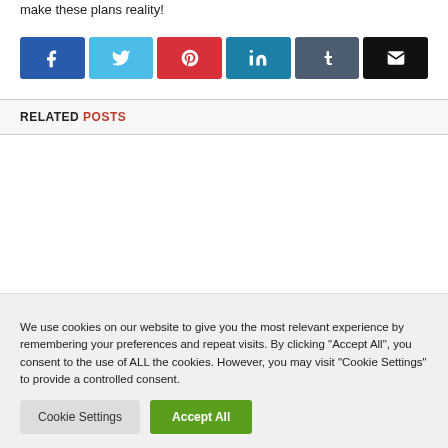make these plans reality!
[Figure (other): Social share buttons: Facebook, Twitter, Pinterest, LinkedIn, Tumblr, Email]
RELATED POSTS
We use cookies on our website to give you the most relevant experience by remembering your preferences and repeat visits. By clicking "Accept All", you consent to the use of ALL the cookies. However, you may visit "Cookie Settings" to provide a controlled consent.